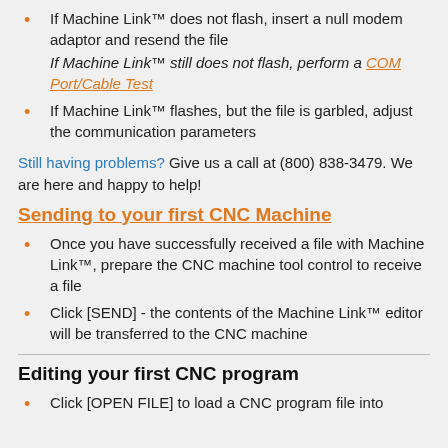If Machine Link™ does not flash, insert a null modem adaptor and resend the file
If Machine Link™ still does not flash, perform a COM Port/Cable Test
If Machine Link™ flashes, but the file is garbled, adjust the communication parameters
Still having problems? Give us a call at (800) 838-3479. We are here and happy to help!
Sending to your first CNC Machine
Once you have successfully received a file with Machine Link™, prepare the CNC machine tool control to receive a file
Click [SEND] - the contents of the Machine Link™ editor will be transferred to the CNC machine
Editing your first CNC program
Click [OPEN FILE] to load a CNC program file into